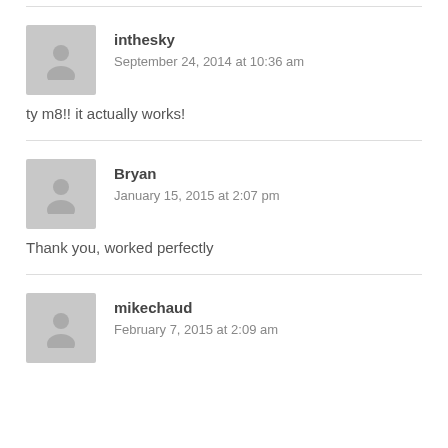inthesky
September 24, 2014 at 10:36 am
ty m8!! it actually works!
Bryan
January 15, 2015 at 2:07 pm
Thank you, worked perfectly
mikechaud
February 7, 2015 at 2:09 am